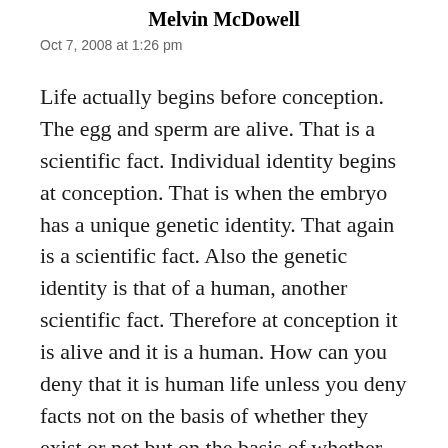Melvin McDowell
Oct 7, 2008 at 1:26 pm
Life actually begins before conception. The egg and sperm are alive. That is a scientific fact. Individual identity begins at conception. That is when the embryo has a unique genetic identity. That again is a scientific fact. Also the genetic identity is that of a human, another scientific fact. Therefore at conception it is alive and it is a human. How can you deny that it is human life unless you deny facts not on the basis of whether they exist or not but on the basis of whether you like them or not?
Moreover, if you believe, as the Declaration of Independence says, that everyone should have...